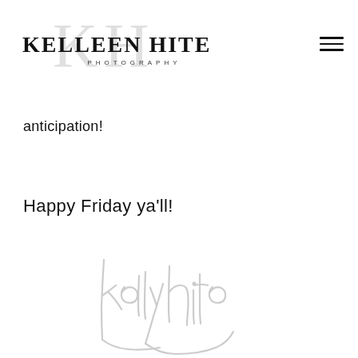[Figure (logo): Kelleen Hite Photography logo with large light gray KH monogram watermark behind bold serif text 'KELLEEN HITE' and smaller spaced 'PHOTOGRAPHY' subtitle]
anticipation!
Happy Friday ya'll!
[Figure (illustration): Light gray cursive handwritten signature reading 'kellyhite']